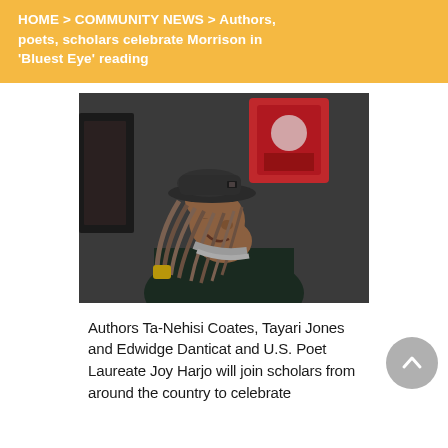HOME > COMMUNITY NEWS > Authors, poets, scholars celebrate Morrison in 'Bluest Eye' reading
[Figure (photo): Portrait photograph of an elderly woman with long dreadlocks, wearing a dark hat and dark clothing, smiling upward. Background shows a dark wall with a red and white framed image or crest.]
Authors Ta-Nehisi Coates, Tayari Jones and Edwidge Danticat and U.S. Poet Laureate Joy Harjo will join scholars from around the country to celebrate